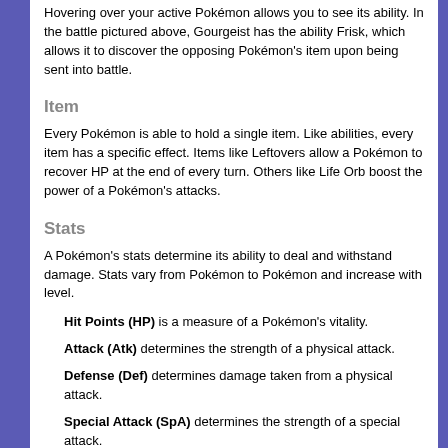Hovering over your active Pokémon allows you to see its ability. In the battle pictured above, Gourgeist has the ability Frisk, which allows it to discover the opposing Pokémon's item upon being sent into battle.
Item
Every Pokémon is able to hold a single item. Like abilities, every item has a specific effect. Items like Leftovers allow a Pokémon to recover HP at the end of every turn. Others like Life Orb boost the power of a Pokémon's attacks.
Stats
A Pokémon's stats determine its ability to deal and withstand damage. Stats vary from Pokémon to Pokémon and increase with level.
Hit Points (HP) is a measure of a Pokémon's vitality.
Attack (Atk) determines the strength of a physical attack.
Defense (Def) determines damage taken from a physical attack.
Special Attack (SpA) determines the strength of a special attack.
Special Defense (SpD) determines damage taken from a special attack.
Speed (Spe) determines attack order. Faster Pokémon move before slower Pokémon.